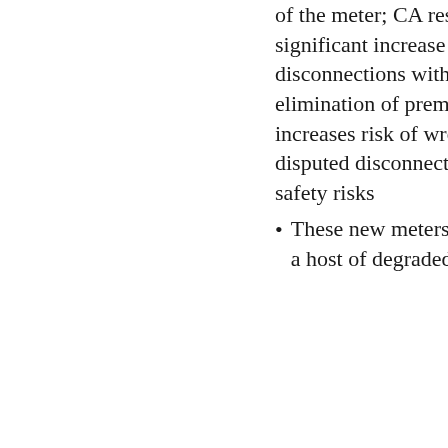disconnection of the meter; CA results document significant increase in volume of disconnections with AMI; elimination of premise visit increases risk of wrongful or disputed disconnection; heath and safety risks
These new meters may give rise to a host of degraded